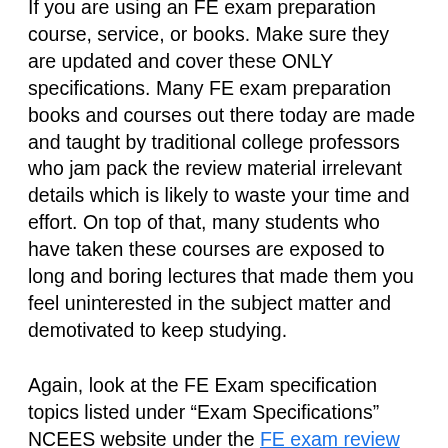If you are using an FE exam preparation course, service, or books. Make sure they are updated and cover these ONLY specifications. Many FE exam preparation books and courses out there today are made and taught by traditional college professors who jam pack the review material irrelevant details which is likely to waste your time and effort. On top of that, many students who have taken these courses are exposed to long and boring lectures that made them you feel uninterested in the subject matter and demotivated to keep studying.
Again, look at the FE Exam specification topics listed under “Exam Specifications” NCEES website under the FE exam review page. Make effective use of your time by making sure you strictly focus on studying these topics.